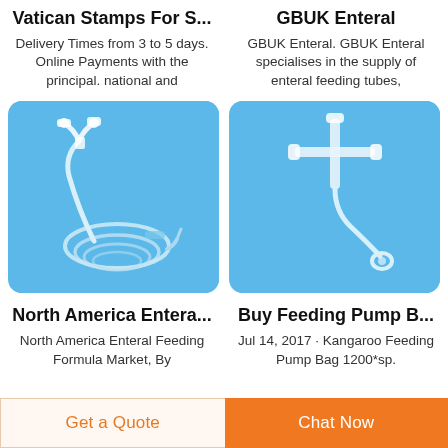Vatican Stamps For S...
Delivery Times from 3 to 5 days. Online Payments with the principal. national and
GBUK Enteral
GBUK Enteral. GBUK Enteral specialises in the supply of enteral feeding tubes,
[Figure (photo): Medical enteral feeding tube with white connectors and coiled transparent tubing on a blue background]
[Figure (photo): Medical enteral feeding tube with cross-shaped connector and curved transparent tubing on a blue background]
North America Entera...
North America Enteral Feeding Formula Market, By
Buy Feeding Pump B...
Jul 14, 2017 · Kangaroo Feeding Pump Bag 1200*sp.
Get a Quote
Chat Now